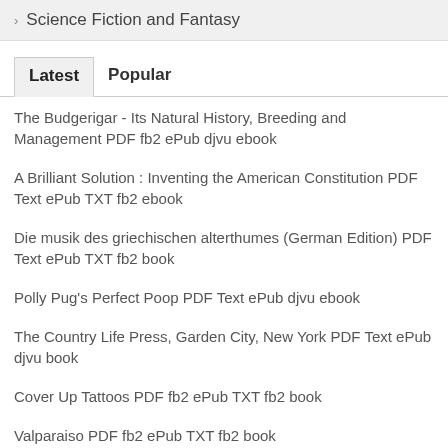Science Fiction and Fantasy
Latest	Popular
The Budgerigar - Its Natural History, Breeding and Management PDF fb2 ePub djvu ebook
A Brilliant Solution : Inventing the American Constitution PDF Text ePub TXT fb2 ebook
Die musik des griechischen alterthumes (German Edition) PDF Text ePub TXT fb2 book
Polly Pug's Perfect Poop PDF Text ePub djvu ebook
The Country Life Press, Garden City, New York PDF Text ePub djvu book
Cover Up Tattoos PDF fb2 ePub TXT fb2 book
Valparaiso PDF fb2 ePub TXT fb2 book